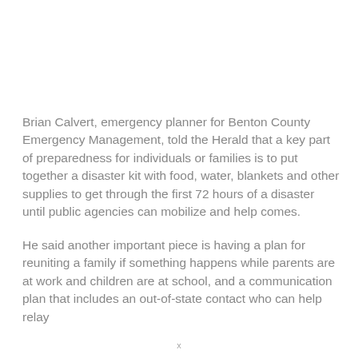Brian Calvert, emergency planner for Benton County Emergency Management, told the Herald that a key part of preparedness for individuals or families is to put together a disaster kit with food, water, blankets and other supplies to get through the first 72 hours of a disaster until public agencies can mobilize and help comes.
He said another important piece is having a plan for reuniting a family if something happens while parents are at work and children are at school, and a communication plan that includes an out-of-state contact who can help relay